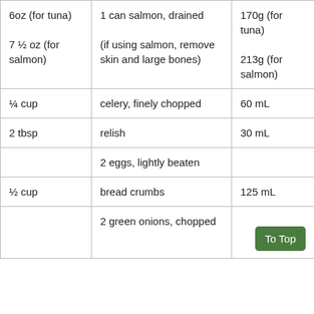| 6oz (for tuna)
7 ½ oz (for salmon) | 1 can salmon, drained
(if using salmon, remove skin and large bones) | 170g (for tuna)
213g (for salmon) |
| ¼ cup | celery, finely chopped | 60 mL |
| 2 tbsp | relish | 30 mL |
|  | 2 eggs, lightly beaten |  |
| ½ cup | bread crumbs | 125 mL |
|  | 2 green onions, chopped | To Top |